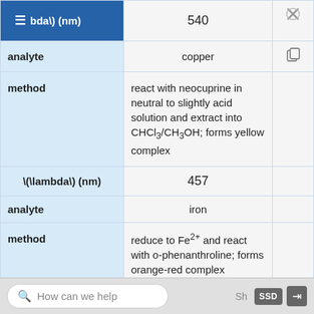| \(\lambda\) (nm) | 540 |  |
| --- | --- | --- |
| analyte | copper |  |
| method | react with neocuprine in neutral to slightly acid solution and extract into CHCl3/CH3OH; forms yellow complex |  |
| \(\lambda\) (nm) | 457 |  |
| analyte | iron |  |
| method | reduce to Fe2+ and react with o-phenanthroline; forms orange-red complex |  |
How can we help